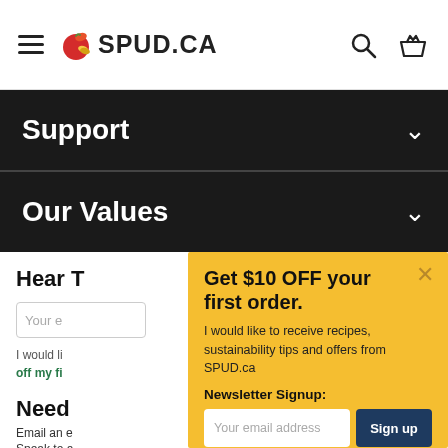SPUD.CA
Support
Our Values
Hear
Your e
I would li off my fi
Need
Email an e
Speak to a
Get $10 OFF your first order.
I would like to receive recipes, sustainability tips and offers from SPUD.ca
Newsletter Signup:
Your email address Sign up